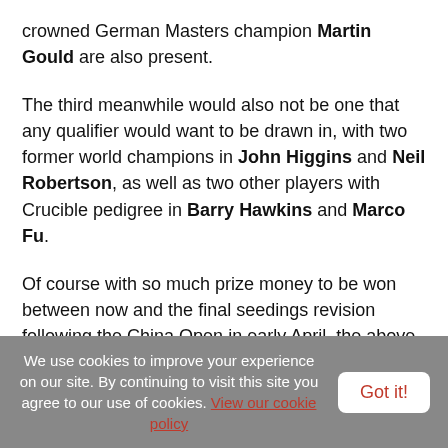crowned German Masters champion Martin Gould are also present.
The third meanwhile would also not be one that any qualifier would want to be drawn in, with two former world champions in John Higgins and Neil Robertson, as well as two other players with Crucible pedigree in Barry Hawkins and Marco Fu.
Of course with so much prize money to be won between now and the final seedings revision following the China Open in early April, the above list will almost certainly change, however it is always interesting to consider what might be possible at this stage.
We use cookies to improve your experience on our site. By continuing to visit this site you agree to our use of cookies. View our cookie policy